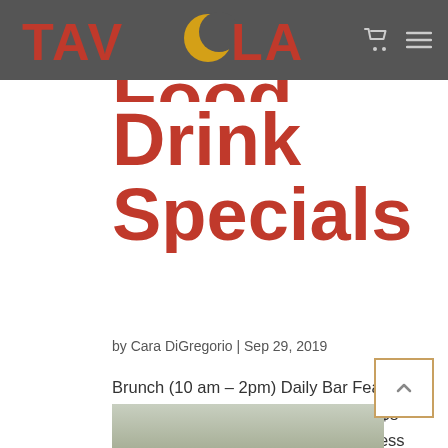TAVOLA
Food and Drink Specials
by Cara DiGregorio | Sep 29, 2019
Brunch (10 am – 2pm) Daily Bar Features: $3 Bud + Bud Light Bottles (All Day) $8 Veranda Punch (2 – 6pm) $10 Boneless Wings (hot or mild) All Day
[Figure (photo): Photo of food/drinks at Tavola restaurant, partially visible at bottom of page]